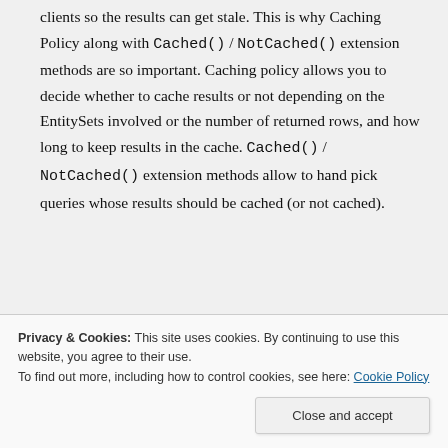clients so the results can get stale. This is why Caching Policy along with Cached() / NotCached() extension methods are so important. Caching policy allows you to decide whether to cache results or not depending on the EntitySets involved or the number of returned rows, and how long to keep results in the cache. Cached() / NotCached() extension methods allow to hand pick queries whose results should be cached (or not cached).
Privacy & Cookies: This site uses cookies. By continuing to use this website, you agree to their use.
To find out more, including how to control cookies, see here: Cookie Policy